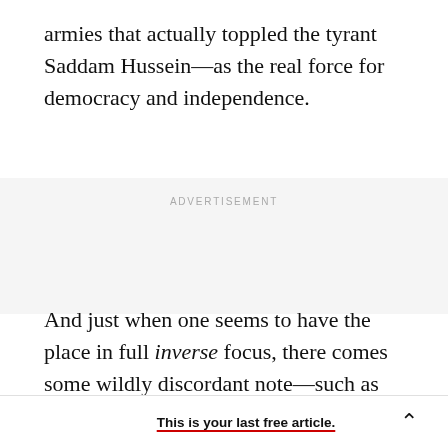armies that actually toppled the tyrant Saddam Hussein—as the real force for democracy and independence.
ADVERTISEMENT
And just when one seems to have the place in full inverse focus, there comes some wildly discordant note—such as the blocks-long open-air drug market right in Tehran's center, where dealers hawk Viagra, Ecstasy, and opium, at rock-bottom infidel
This is your last free article.